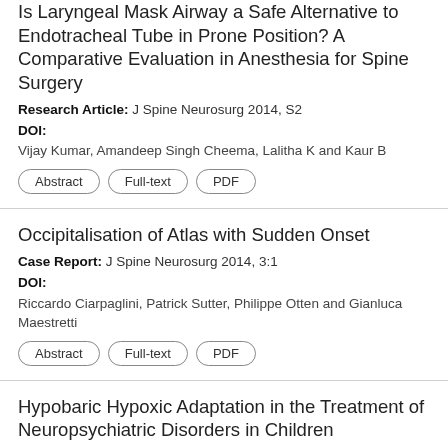Is Laryngeal Mask Airway a Safe Alternative to Endotracheal Tube in Prone Position? A Comparative Evaluation in Anesthesia for Spine Surgery
Research Article: J Spine Neurosurg 2014, S2
DOI:
Vijay Kumar, Amandeep Singh Cheema, Lalitha K and Kaur B
Abstract
Full-text
PDF
Occipitalisation of Atlas with Sudden Onset
Case Report: J Spine Neurosurg 2014, 3:1
DOI:
Riccardo Ciarpaglini, Patrick Sutter, Philippe Otten and Gianluca Maestretti
Abstract
Full-text
PDF
Hypobaric Hypoxic Adaptation in the Treatment of Neuropsychiatric Disorders in Children
Research Article: J Spine Neurosurg 2019, 8:4
DOI: